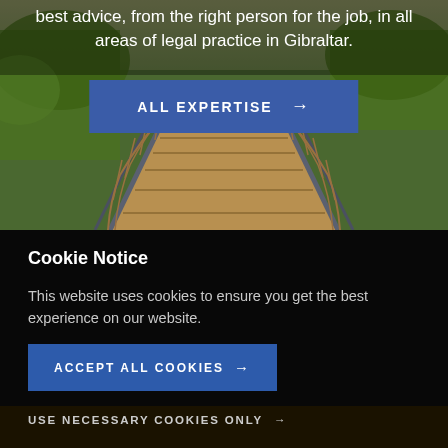[Figure (photo): Wooden suspension bridge walkway viewed from one end, with rope railings and metal fence railings on sides, green trees visible in background, photographed in perspective showing receding planks]
best advice, from the right person for the job, in all areas of legal practice in Gibraltar.
ALL EXPERTISE →
Cookie Notice
This website uses cookies to ensure you get the best experience on our website.
ACCEPT ALL COOKIES →
USE NECESSARY COOKIES ONLY →